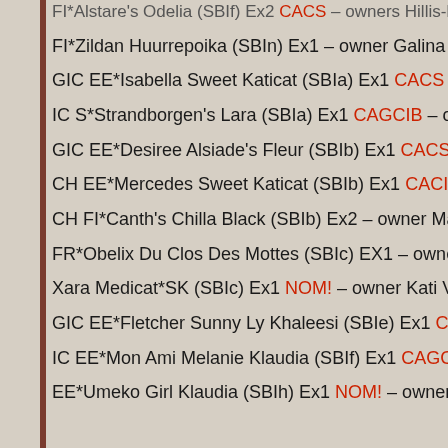FI*Alstare's Odelia (SBIf) Ex2 CACS – owners Hillis-Parrigas (truncated)
FI*Zildan Huurrepoika (SBIn) Ex1 – owner Galina Egorova
GIC EE*Isabella Sweet Katicat (SBIa) Ex1 CACS – owner Kati Va…
IC S*Strandborgen's Lara (SBIa) Ex1 CAGCIB – owner Ivar Eens…
GIC EE*Desiree Alsiade's Fleur (SBIb) Ex1 CACS – owner Merik…
CH EE*Mercedes Sweet Katicat (SBIb) Ex1 CACIB, BIV! – owner…
CH FI*Canth's Chilla Black (SBIb) Ex2 – owner Maaris Paukson
FR*Obelix Du Clos Des Mottes (SBIc) EX1 – owner Ivar Eensoo
Xara Medicat*SK (SBIc) Ex1 NOM! – owner Kati Valkenpert
GIC EE*Fletcher Sunny Ly Khaleesi (SBIe) Ex1 CACS – owner E…
IC EE*Mon Ami Melanie Klaudia (SBIf) Ex1 CAGCIB – owner Ga…
EE*Umeko Girl Klaudia (SBIh) Ex1 NOM! – owner Klaudia Soots